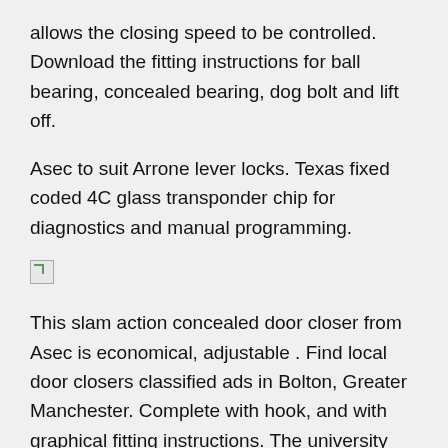allows the closing speed to be controlled. Download the fitting instructions for ball bearing, concealed bearing, dog bolt and lift off.
Asec to suit Arrone lever locks. Texas fixed coded 4C glass transponder chip for diagnostics and manual programming.
[Figure (other): Broken/missing image placeholder icon]
This slam action concealed door closer from Asec is economical, adjustable . Find local door closers classified ads in Bolton, Greater Manchester. Complete with hook, and with graphical fitting instructions. The university required a door closer solution that was. DC5throughout our site. Arrone Stainless Steel Ball Bearing Butt Hinge, Grade 1 120kg Rated